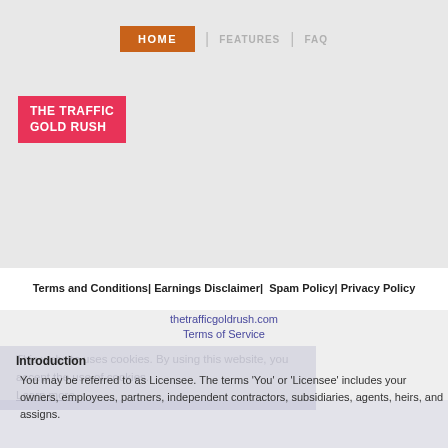HOME  FEATURES  FAQ
[Figure (logo): The Traffic Gold Rush logo — red rectangle with white bold uppercase text reading THE TRAFFIC GOLD RUSH]
Terms and Conditions| Earnings Disclaimer|  Spam Policy| Privacy Policy
thetrafficgoldrush.com
Terms of Service
This website uses cookies. By using this website, you accept the use of cookies. Learn more
Introduction
You may be referred to as Licensee. The terms 'You' or 'Licensee' includes your owners, employees, partners, independent contractors, subsidiaries, agents, heirs, and assigns.